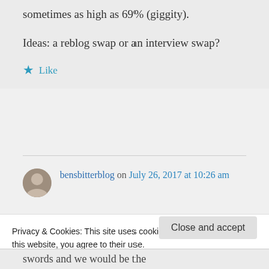sometimes as high as 69% (giggity).
Ideas: a reblog swap or an interview swap?
★ Like
bensbitterblog on July 26, 2017 at 10:26 am
Privacy & Cookies: This site uses cookies. By continuing to use this website, you agree to their use.
To find out more, including how to control cookies, see here: Cookie Policy
Close and accept
swords and we would be the